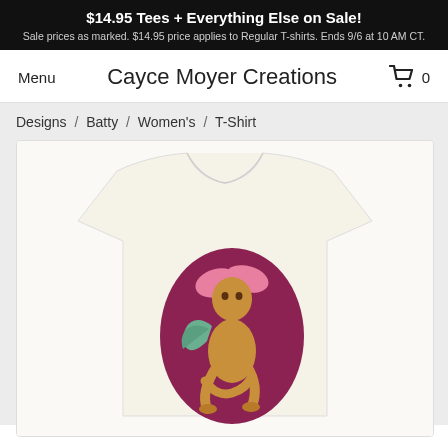$14.95 Tees + Everything Else on Sale! Sale prices as marked. $14.95 price applies to Regular T-shirts. Ends 9/6 at 10 AM CT.
Menu
Cayce Moyer Creations
0
Designs / Batty / Women's / T-Shirt
[Figure (photo): A cream/off-white women's t-shirt featuring fantasy artwork of a bat-winged creature with pink ears, green bat wings, sitting in front of a dark maroon oval background.]